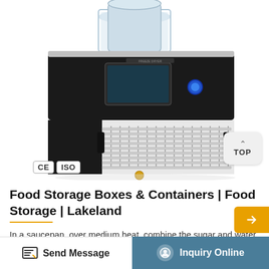[Figure (photo): A freeze dryer / lyophilizer machine with a glass dome on top, black upper body with control panel and blue button, white lower body with ventilation grilles. CE and ISO certification badges visible at bottom left.]
Food Storage Boxes & Containers | Food Storage | Lakeland
In a saucepan, over medium heat, combine the sugar and water. Stir until the sugar dissolves. Stir in the corn syrup. Bring the mixture to a boil and cook ...
Send Message
Inquiry Online